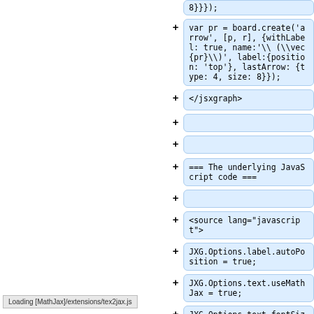8}}});
var pr = board.create('arrow', [p, r], {withLabel: true, name:'\\(\\vec{pr}\\)', label:{position: 'top'}, lastArrow: {type: 4, size: 8}});
</jsxgraph>
=== The underlying JavaScript code ===
<source lang="javascript">
JXG.Options.label.autoPosition = true;
JXG.Options.text.useMathJax = true;
JXG.Options.text.fontSize = 20;
Loading [MathJax]/extensions/tex2jax.js